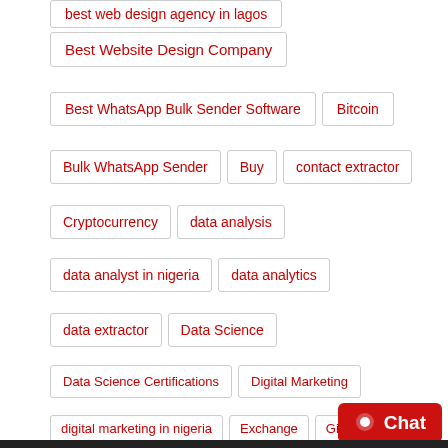best web design agency in lagos
Best Website Design Company
Best WhatsApp Bulk Sender Software
Bitcoin
Bulk WhatsApp Sender
Buy
contact extractor
Cryptocurrency
data analysis
data analyst in nigeria
data analytics
data extractor
Data Science
Data Science Certifications
Digital Marketing
digital marketing in nigeria
Exchange
Giftcards
Google
how to avoid whatsapp ban